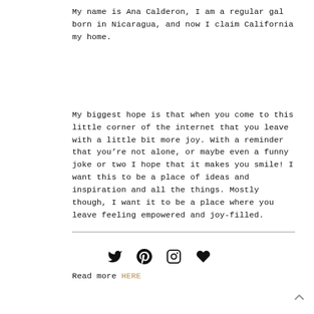My name is Ana Calderon, I am a regular gal born in Nicaragua, and now I claim California my home.
My biggest hope is that when you come to this little corner of the internet that you leave with a little bit more joy. With a reminder that you’re not alone, or maybe even a funny joke or two I hope that it makes you smile! I want this to be a place of ideas and inspiration and all the things. Mostly though, I want it to be a place where you leave feeling empowered and joy-filled.
Read more HERE
[Figure (other): Social media icons: Twitter, Pinterest, Instagram, Heart/Bloglovin]
[Figure (other): Back to top arrow chevron]